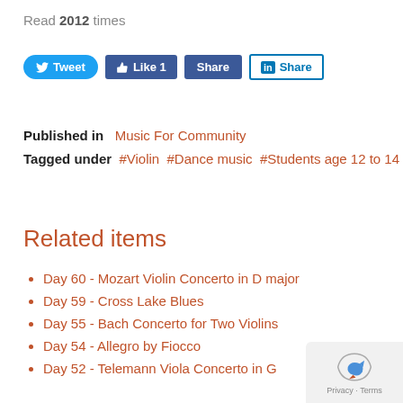Read 2012 times
[Figure (other): Social sharing buttons: Tweet, Like 1, Share (Facebook), Share (LinkedIn)]
Published in  Music For Community
Tagged under  #Violin  #Dance music  #Students age 12 to 14
Related items
Day 60 - Mozart Violin Concerto in D major
Day 59 - Cross Lake Blues
Day 55 - Bach Concerto for Two Violins
Day 54 - Allegro by Fiocco
Day 52 - Telemann Viola Concerto in G